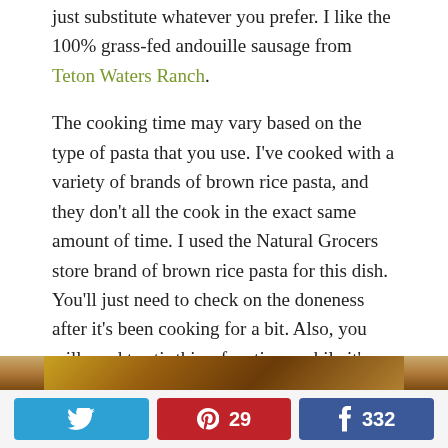just substitute whatever you prefer. I like the 100% grass-fed andouille sausage from Teton Waters Ranch.
The cooking time may vary based on the type of pasta that you use. I've cooked with a variety of brands of brown rice pasta, and they don't all the cook in the exact same amount of time. I used the Natural Grocers store brand of brown rice pasta for this dish. You'll just need to check on the doneness after it's been cooking for a bit. Also, you will need to stir this a few times while it's cooking to keep the pasta from sticking to the pan.
[Figure (photo): Partial view of a food dish photo at bottom of page]
[Figure (infographic): Social sharing bar with Twitter, Pinterest (29), and Facebook (332) buttons]